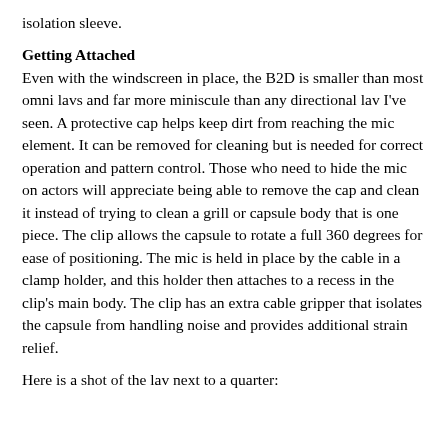isolation sleeve.
Getting Attached
Even with the windscreen in place, the B2D is smaller than most omni lavs and far more miniscule than any directional lav I've seen. A protective cap helps keep dirt from reaching the mic element. It can be removed for cleaning but is needed for correct operation and pattern control. Those who need to hide the mic on actors will appreciate being able to remove the cap and clean it instead of trying to clean a grill or capsule body that is one piece. The clip allows the capsule to rotate a full 360 degrees for ease of positioning. The mic is held in place by the cable in a clamp holder, and this holder then attaches to a recess in the clip's main body. The clip has an extra cable gripper that isolates the capsule from handling noise and provides additional strain relief.
Here is a shot of the lav next to a quarter:
The teeth on the claw portion of the clip are just sharp enough to provide a good grip on just about any type of clothing, but not so sharp that they snag or damage delicate fabrics. As an option, there's also a magnetic clip that uses a backing plate and magnet, perfect for extremely delicate fabrics like silk. Also available as an